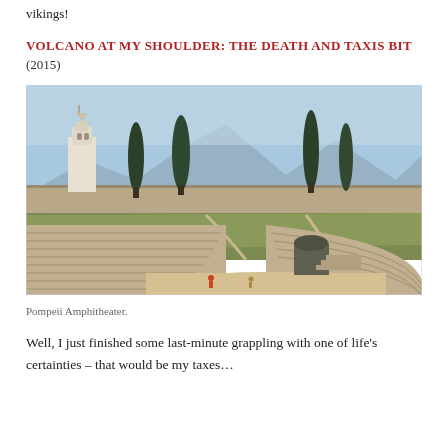vikings!
VOLCANO AT MY SHOULDER: THE DEATH AND TAXIS BIT (2015)
[Figure (photo): Pompeii Amphitheater with ancient stone seating, sandy arena floor with two small figures, cypress trees, a church bell tower, stone walls, and mountains in the background under a blue sky.]
Pompeii Amphitheater.
Well, I just finished some last-minute grappling with one of life's certainties – that would be my taxes…